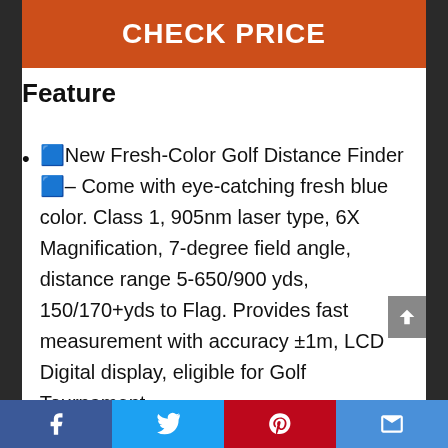CHECK PRICE
Feature
🟦New Fresh-Color Golf Distance Finder🟦– Come with eye-catching fresh blue color. Class 1, 905nm laser type, 6X Magnification, 7-degree field angle, distance range 5-650/900 yds, 150/170+yds to Flag. Provides fast measurement with accuracy ±1m, LCD Digital display, eligible for Golf Tournament.
Social share bar: Facebook, Twitter, Pinterest, Email